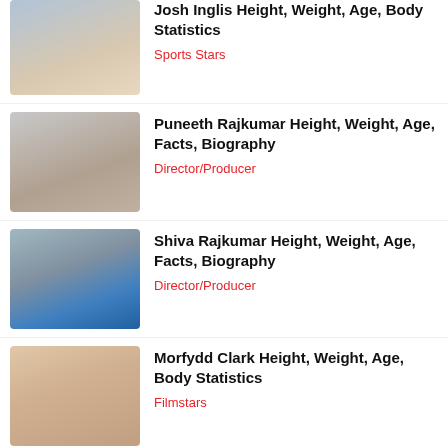Josh Inglis Height, Weight, Age, Body Statistics — Sports Stars
Puneeth Rajkumar Height, Weight, Age, Facts, Biography — Director/Producer
Shiva Rajkumar Height, Weight, Age, Facts, Biography — Director/Producer
Morfydd Clark Height, Weight, Age, Body Statistics — Filmstars